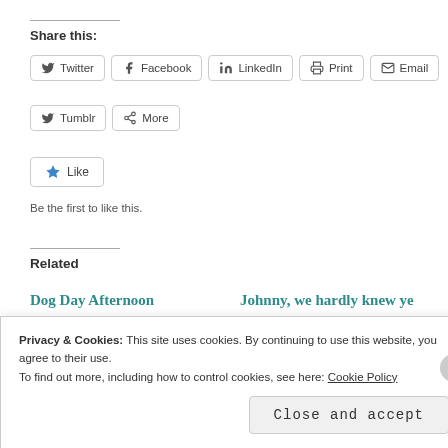Share this:
Twitter
Facebook
LinkedIn
Print
Email
Tumblr
More
Like
Be the first to like this.
Related
Dog Day Afternoon
July 1, 2015
Johnny, we hardly knew ye
Privacy & Cookies: This site uses cookies. By continuing to use this website, you agree to their use.
To find out more, including how to control cookies, see here: Cookie Policy
Close and accept